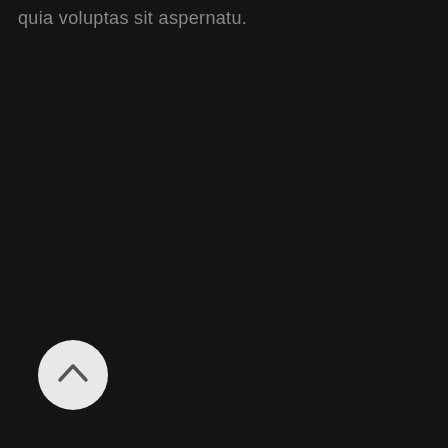quia voluptas sit aspernatu.
[Figure (illustration): White circular button with an upward-pointing chevron arrow, on a dark background]